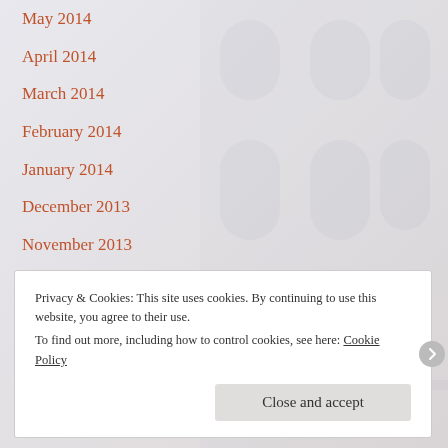May 2014
April 2014
March 2014
February 2014
January 2014
December 2013
November 2013
October 2013
September 2013
August 2013
July 2013
Privacy & Cookies: This site uses cookies. By continuing to use this website, you agree to their use. To find out more, including how to control cookies, see here: Cookie Policy
Close and accept